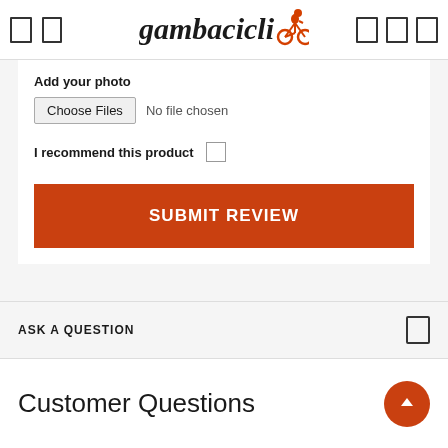[Figure (logo): Gambacicli logo with cyclist icon in orange and black italic text]
Add your photo
Choose Files  No file chosen
I recommend this product
SUBMIT REVIEW
ASK A QUESTION
Customer Questions